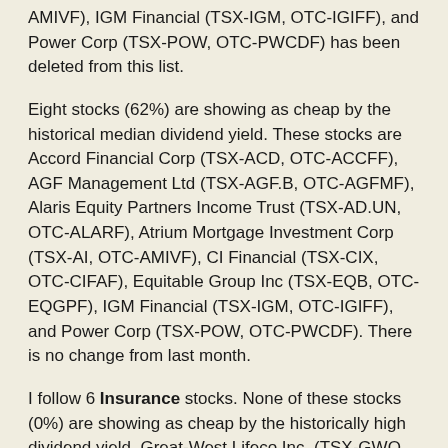AMIVF), IGM Financial (TSX-IGM, OTC-IGIFF), and Power Corp (TSX-POW, OTC-PWCDF) has been deleted from this list.
Eight stocks (62%) are showing as cheap by the historical median dividend yield. These stocks are Accord Financial Corp (TSX-ACD, OTC-ACCFF), AGF Management Ltd (TSX-AGF.B, OTC-AGFMF), Alaris Equity Partners Income Trust (TSX-AD.UN, OTC-ALARF), Atrium Mortgage Investment Corp (TSX-AI, OTC-AMIVF), CI Financial (TSX-CIX, OTC-CIFAF), Equitable Group Inc (TSX-EQB, OTC-EQGPF), IGM Financial (TSX-IGM, OTC-IGIFF), and Power Corp (TSX-POW, OTC-PWCDF). There is no change from last month.
I follow 6 Insurance stocks. None of these stocks (0%) are showing as cheap by the historically high dividend yield. Great-West Lifeco Inc. (TSX-GWO, OTC-GWLIF), and Manulife Financial Corp (TSX-MFC, NYSE-MFC) has been deleted from this list.
Five stocks (83%) are showing as cheap by historical